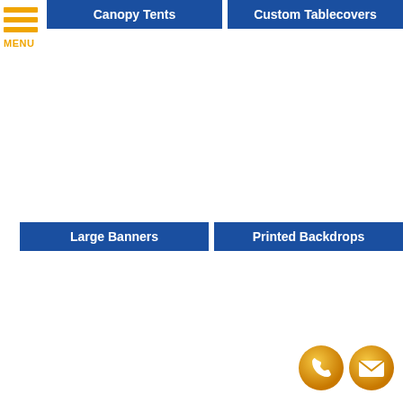[Figure (other): Hamburger menu icon with three orange horizontal bars and 'MENU' label in orange]
Canopy Tents
Custom Tablecovers
Large Banners
Printed Backdrops
[Figure (other): Orange circle icon with phone handset symbol]
[Figure (other): Orange circle icon with envelope/mail symbol]